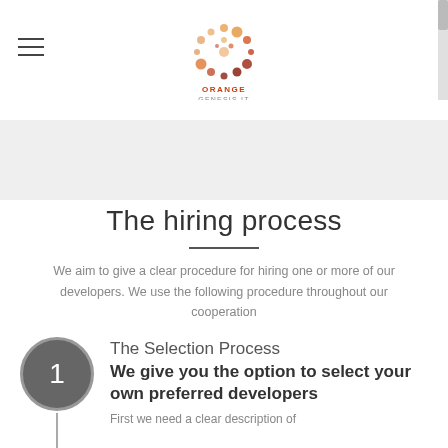Orange Genesis IT logo and navigation
The hiring process
We aim to give a clear procedure for hiring one or more of our developers. We use the following procedure throughout our cooperation
The Selection Process
We give you the option to select your own preferred developers
First we need a clear description of